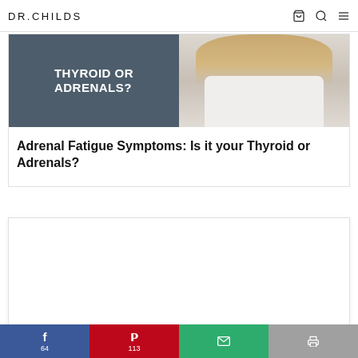DR.CHILDS
[Figure (photo): Article card thumbnail with dark grey/blue left panel reading 'THYROID OR ADRENALS?' in large white bold text, and right panel showing a woman with blonde hair in white clothing]
Adrenal Fatigue Symptoms: Is it your Thyroid or Adrenals?
[Figure (other): White advertisement or content box with light border and shadow]
64  113